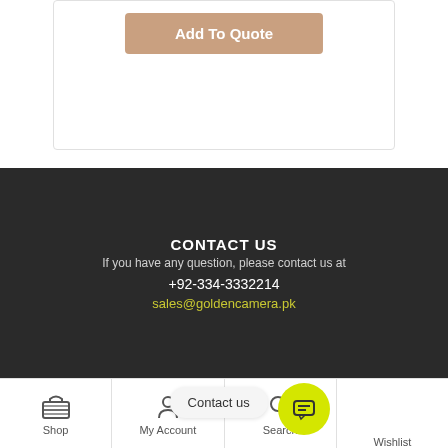[Figure (screenshot): Add To Quote button on a product card with tan/beige background color]
CONTACT US
If you have any question, please contact us at +92-334-3332214
sales@goldencamera.pk
Shop | My Account | Search | Wishlist